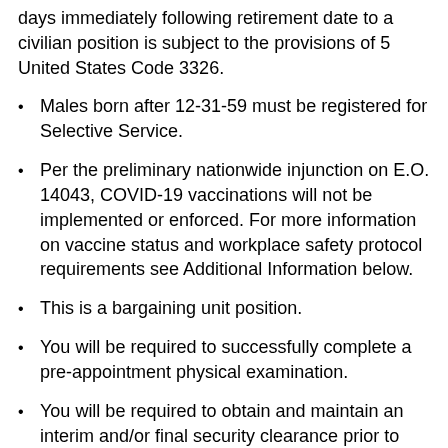days immediately following retirement date to a civilian position is subject to the provisions of 5 United States Code 3326.
Males born after 12-31-59 must be registered for Selective Service.
Per the preliminary nationwide injunction on E.O. 14043, COVID-19 vaccinations will not be implemented or enforced. For more information on vaccine status and workplace safety protocol requirements see Additional Information below.
This is a bargaining unit position.
You will be required to successfully complete a pre-appointment physical examination.
You will be required to obtain and maintain an interim and/or final security clearance prior to entrance on duty. Failure to obtain and maintain the required level of clearance may result in the withdrawal of a job offer or removal.